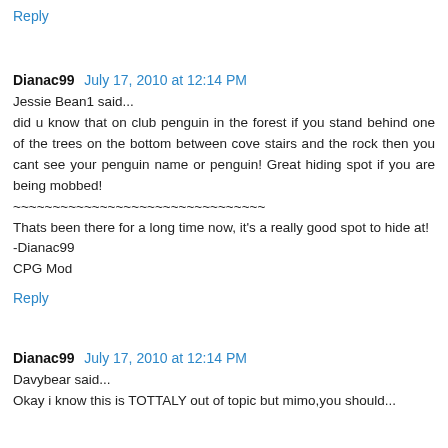Reply
Dianac99  July 17, 2010 at 12:14 PM
Jessie Bean1 said...
did u know that on club penguin in the forest if you stand behind one of the trees on the bottom between cove stairs and the rock then you cant see your penguin name or penguin! Great hiding spot if you are being mobbed!
~~~~~~~~~~~~~~~~~~~~~~~~~~~~~~~~
Thats been there for a long time now, it's a really good spot to hide at!
-Dianac99
CPG Mod
Reply
Dianac99  July 17, 2010 at 12:14 PM
Davybear said...
Okay i know this is TOTTALY out of topic but mimo,you should...